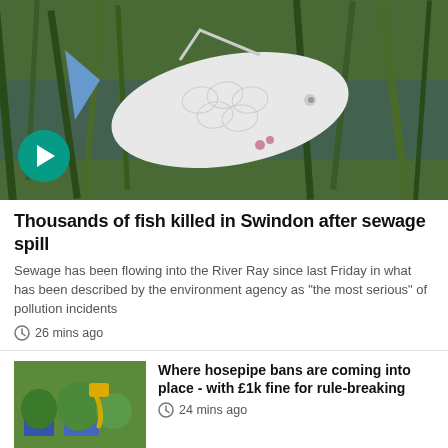[Figure (photo): Dead fish among reeds and water plants, with a teal play button in bottom-left corner]
Thousands of fish killed in Swindon after sewage spill
Sewage has been flowing into the River Ray since last Friday in what has been described by the environment agency as "the most serious" of pollution incidents
26 mins ago
[Figure (photo): Person using yellow hosepipe on potted plants]
Where hosepipe bans are coming into place - with £1k fine for rule-breaking
24 mins ago
[Figure (photo): Grey thumbnail with teal play button - video about CPR]
Mum urges parents to learn CPR after newborn baby almost died
2 hrs ago
[Figure (photo): Partial thumbnail for van driver story]
Moment van driver high on prescription